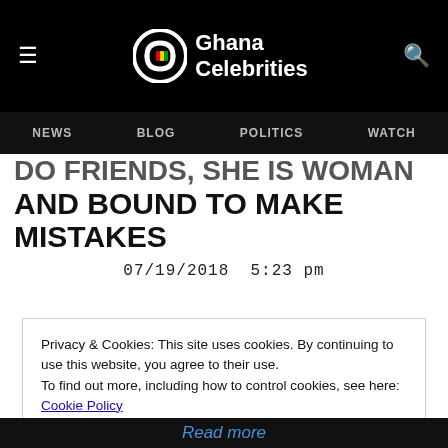Ghana Celebrities — NEWS | BLOG | POLITICS | WATCH
DO FRIENDS, SHE IS WOMAN AND BOUND TO MAKE MISTAKES
07/19/2018  5:23 pm
Privacy & Cookies: This site uses cookies. By continuing to use this website, you agree to their use.
To find out more, including how to control cookies, see here: Cookie Policy
Read more